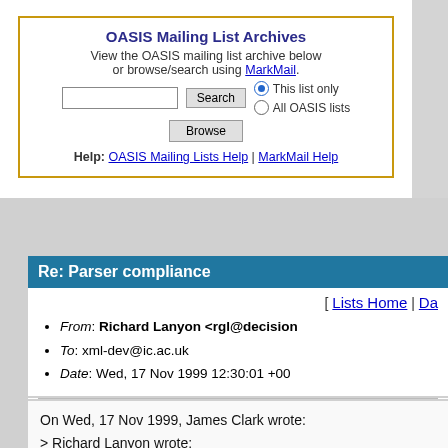OASIS Mailing List Archives
View the OASIS mailing list archive below or browse/search using MarkMail.
Help: OASIS Mailing Lists Help | MarkMail Help
Re: Parser compliance
[ Lists Home | Da
From: Richard Lanyon <rgl@decision
To: xml-dev@ic.ac.uk
Date: Wed, 17 Nov 1999 12:30:01 +00
On Wed, 17 Nov 1999, James Clark wrote:
> Richard Lanyon wrote:
> > On 16 Nov 1999, David Megginson wro